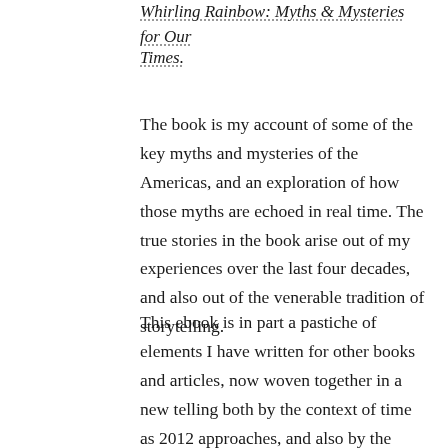Whirling Rainbow: Myths & Mysteries for Our Times.
The book is my account of some of the key myths and mysteries of the Americas, and an exploration of how those myths are echoed in real time. The true stories in the book arise out of my experiences over the last four decades, and also out of the venerable tradition of storytelling.
This ebook is in part a pastiche of elements I have written for other books and articles, now woven together in a new telling both by the context of time as 2012 approaches, and also by the living, mythic image of the